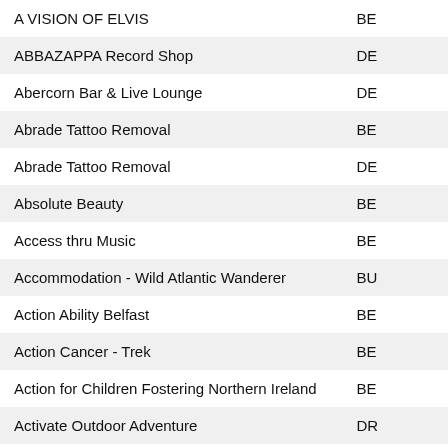| Name | Code |
| --- | --- |
| A VISION OF ELVIS | BE |
| ABBAZAPPA Record Shop | DE |
| Abercorn Bar & Live Lounge | DE |
| Abrade Tattoo Removal | BE |
| Abrade Tattoo Removal | DE |
| Absolute Beauty | BE |
| Access thru Music | BE |
| Accommodation - Wild Atlantic Wanderer | BU |
| Action Ability Belfast | BE |
| Action Cancer - Trek | BE |
| Action for Children Fostering Northern Ireland | BE |
| Activate Outdoor Adventure | DR |
| Activitour | CA |
| Adam Hills | BE |
| Adventure Gently | DR |
| Aetherandecho | BE |
| Age N I | LIS |
| Age N I Enterprises | BE |